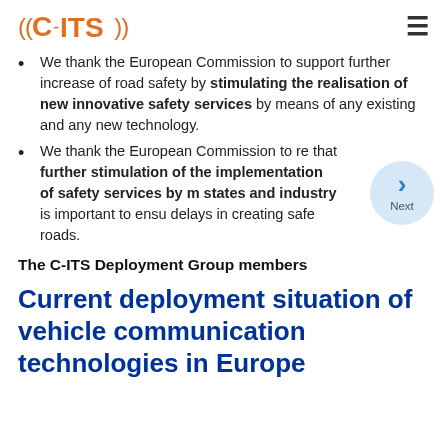C-ITS
We thank the European Commission to support further increase of road safety by stimulating the realisation of new innovative safety services by means of any existing and any new technology.
We thank the European Commission to re that further stimulation of the implementation of safety services by m states and industry is important to ensu delays in creating safe roads.
The C-ITS Deployment Group members
Current deployment situation of vehicle communication technologies in Europe